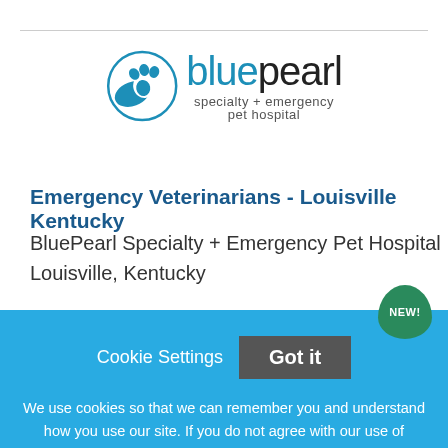[Figure (logo): BluePearl Specialty + Emergency Pet Hospital logo with paw print icon in blue circle and wordmark]
Emergency Veterinarians - Louisville Kentucky
BluePearl Specialty + Emergency Pet Hospital
Louisville, Kentucky
Cookie Settings   Got it
We use cookies so that we can remember you and understand how you use our site. If you do not agree with our use of cookies, please change the current settings found in our Cookie Policy. Otherwise, you agree to the use of the cookies as they are currently set.